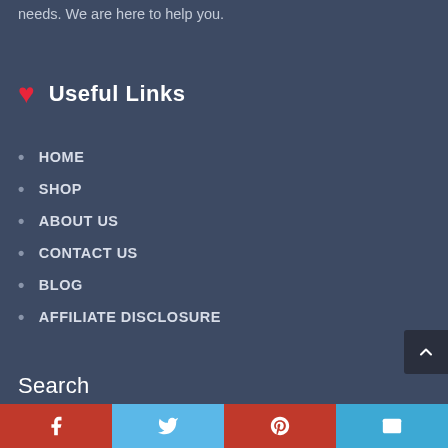needs. We are here to help you.
Useful Links
HOME
SHOP
ABOUT US
CONTACT US
BLOG
AFFILIATE DISCLOSURE
Search
Facebook Twitter Pinterest Email